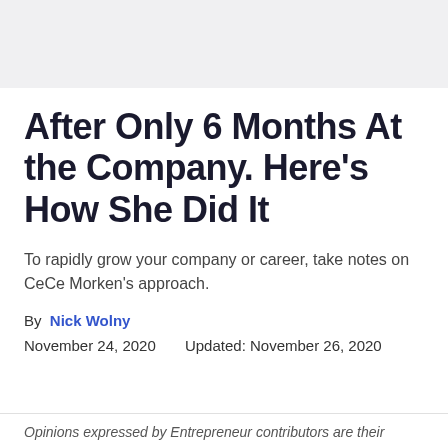After Only 6 Months At the Company. Here's How She Did It
To rapidly grow your company or career, take notes on CeCe Morken's approach.
By Nick Wolny
November 24, 2020      Updated: November 26, 2020
Opinions expressed by Entrepreneur contributors are their